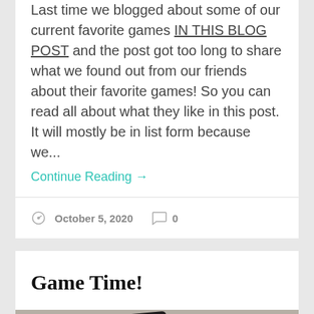Last time we blogged about some of our current favorite games IN THIS BLOG POST and the post got too long to share what we found out from our friends about their favorite games! So you can read all about what they like in this post. It will mostly be in list form because we...
Continue Reading →
October 5, 2020   0
Game Time!
[Figure (photo): Photo of card games including a Bicycle playing card deck and what appears to be a YANO or similar card game box on a gray background]